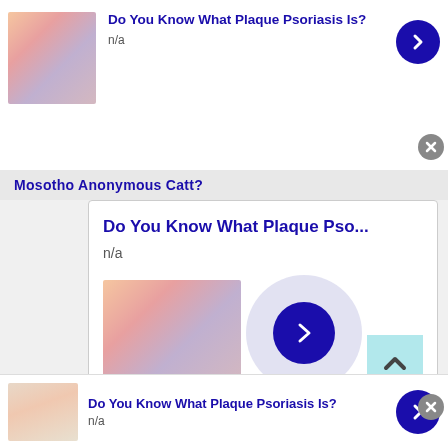[Figure (screenshot): Top advertisement card: skin condition image thumbnail on left, title 'Do You Know What Plaque Psoriasis Is?' in blue bold, 'n/a' subtitle, blue circular arrow button on right]
Do You Know What Plaque Psoriasis Is?
n/a
Mosotho Anonymous Catt?
[Figure (screenshot): Expanded advertisement card with title 'Do You Know What Plaque Pso...', subtitle 'n/a', skin condition image on bottom left, large blue circular arrow button with light purple background circle, teal scroll-up button]
Do You Know What Plaque Pso...
n/a
[Figure (screenshot): Bottom advertisement card: hand with mole image thumbnail, title 'Do You Know What Plaque Psoriasis Is?', 'n/a' subtitle, blue circular arrow button]